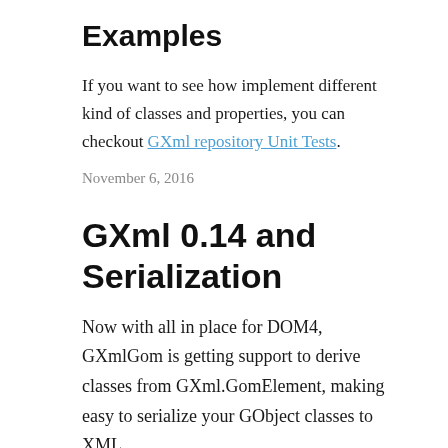Examples
If you want to see how implement different kind of classes and properties, you can checkout GXml repository Unit Tests.
November 6, 2016
GXml 0.14 and Serialization
Now with all in place for DOM4, GXmlGom is getting support to derive classes from GXml.GomElement, making easy to serialize your GObject classes to XML.